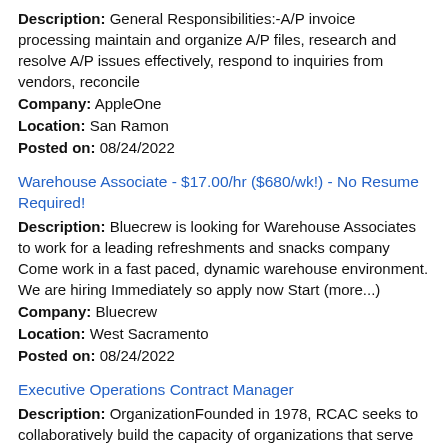Description: General Responsibilities:-A/P invoice processing maintain and organize A/P files, research and resolve A/P issues effectively, respond to inquiries from vendors, reconcile
Company: AppleOne
Location: San Ramon
Posted on: 08/24/2022
Warehouse Associate - $17.00/hr ($680/wk!) - No Resume Required!
Description: Bluecrew is looking for Warehouse Associates to work for a leading refreshments and snacks company Come work in a fast paced, dynamic warehouse environment. We are hiring Immediately so apply now Start (more...)
Company: Bluecrew
Location: West Sacramento
Posted on: 08/24/2022
Executive Operations Contract Manager
Description: OrganizationFounded in 1978, RCAC seeks to collaboratively build the capacity of organizations that serve low-income people living in the rural West 13 states including Alaska and Hawaii . RCAC works (more...)
Company: Rural Community Assistance Corporation
Location: West Sacramento